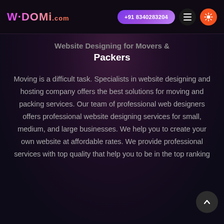W-DOMi.com | +91 8340283204
Website Designing for Movers & Packers
Moving is a difficult task. Specialists in website designing and hosting company offers the best solutions for moving and packing services. Our team of professional web designers offers professional website designing services for small, medium, and large businesses. We help you to create your own website at affordable rates. We provide professional services with top quality that help you to be in the top ranking